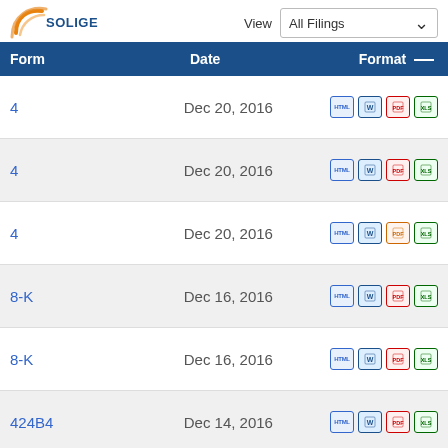[Figure (logo): Soligenix logo with orange arc graphic and blue SOLIGENIX text]
View All Filings
| Form | Date | Format |
| --- | --- | --- |
| 4 | Dec 20, 2016 | HTML | Word | PDF | XLS |
| 4 | Dec 20, 2016 | HTML | Word | PDF | XLS |
| 4 | Dec 20, 2016 | HTML | Word | PDF | XLS |
| 8-K | Dec 16, 2016 | HTML | Word | PDF | XLS |
| 8-K | Dec 16, 2016 | HTML | Word | PDF | XLS |
| 424B4 | Dec 14, 2016 | HTML | Word | PDF | XLS |
| S-1MEF | Dec 13, 2016 | HTML | Word | PDF | XLS |
| CERTNAS | Dec 13, 2016 | HTML | Word | PDF | XLS |